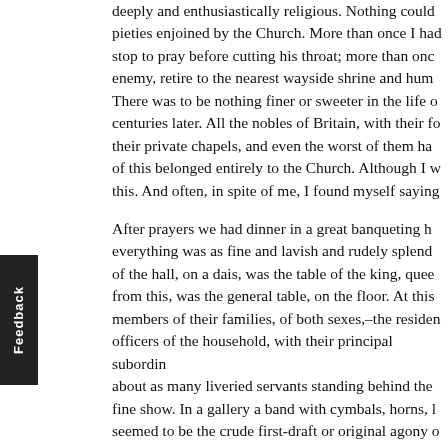deeply and enthusiastically religious. Nothing could pieties enjoined by the Church. More than once I had stop to pray before cutting his throat; more than onc enemy, retire to the nearest wayside shrine and hum There was to be nothing finer or sweeter in the life c centuries later. All the nobles of Britain, with their fo their private chapels, and even the worst of them ha of this belonged entirely to the Church. Although I w this. And often, in spite of me, I found myself saying
After prayers we had dinner in a great banqueting h everything was as fine and lavish and rudely splend of the hall, on a dais, was the table of the king, quee from this, was the general table, on the floor. At this members of their families, of both sexes,–the residen officers of the household, with their principal subordin about as many liveried servants standing behind the fine show. In a gallery a band with cymbals, horns, l seemed to be the crude first-draft or original agony o Bye." It was new, and ought to have been rehearsed o composer hanged, after dinner.